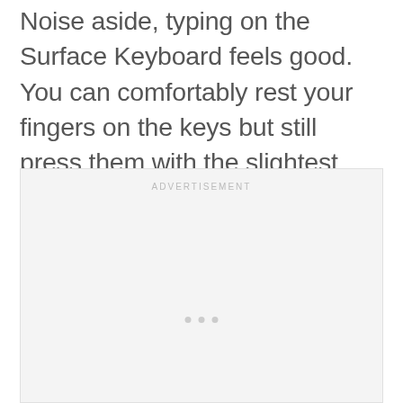Noise aside, typing on the Surface Keyboard feels good. You can comfortably rest your fingers on the keys but still press them with the slightest nudge. There's no learning curve and you can begin typing away immediately.
[Figure (other): Advertisement placeholder box with 'ADVERTISEMENT' label at top and three dots near the bottom center]